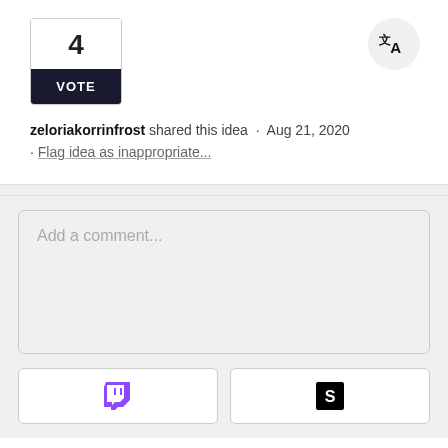4
VOTE
zeloriakorrinfrost shared this idea · Aug 21, 2020 · Flag idea as inappropriate...
Add a comment...
[Figure (other): Twitch login button icon]
[Figure (other): Steam login button icon]